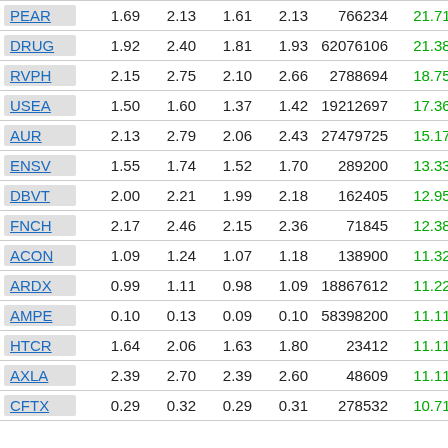| Ticker | Open | High | Low | Close | Volume | Change% |
| --- | --- | --- | --- | --- | --- | --- |
| PEAR | 1.69 | 2.13 | 1.61 | 2.13 | 766234 | 21.71% |
| DRUG | 1.92 | 2.40 | 1.81 | 1.93 | 62076106 | 21.38% |
| RVPH | 2.15 | 2.75 | 2.10 | 2.66 | 2788694 | 18.75% |
| USEA | 1.50 | 1.60 | 1.37 | 1.42 | 19212697 | 17.36% |
| AUR | 2.13 | 2.79 | 2.06 | 2.43 | 27479725 | 15.17% |
| ENSV | 1.55 | 1.74 | 1.52 | 1.70 | 289200 | 13.33% |
| DBVT | 2.00 | 2.21 | 1.99 | 2.18 | 162405 | 12.95% |
| FNCH | 2.17 | 2.46 | 2.15 | 2.36 | 71845 | 12.38% |
| ACON | 1.09 | 1.24 | 1.07 | 1.18 | 138900 | 11.32% |
| ARDX | 0.99 | 1.11 | 0.98 | 1.09 | 18867612 | 11.22% |
| AMPE | 0.10 | 0.13 | 0.09 | 0.10 | 58398200 | 11.11% |
| HTCR | 1.64 | 2.06 | 1.63 | 1.80 | 23412 | 11.11% |
| AXLA | 2.39 | 2.70 | 2.39 | 2.60 | 48609 | 11.11% |
| CFTX | 0.29 | 0.32 | 0.29 | 0.31 | 278532 | 10.71% |